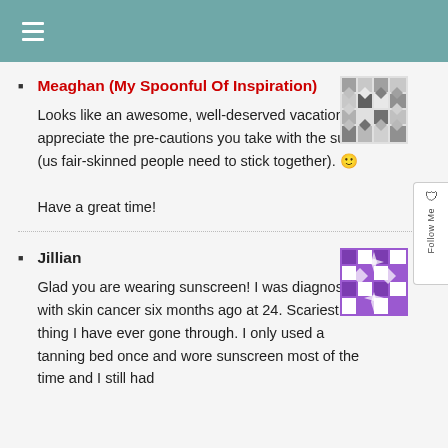≡
Meaghan (My Spoonful Of Inspiration)
Looks like an awesome, well-deserved vacation! I appreciate the pre-cautions you take with the sun (us fair-skinned people need to stick together). 🙂

Have a great time!
Jillian
Glad you are wearing sunscreen! I was diagnosed with skin cancer six months ago at 24. Scariest thing I have ever gone through. I only used a tanning bed once and wore sunscreen most of the time and I still had